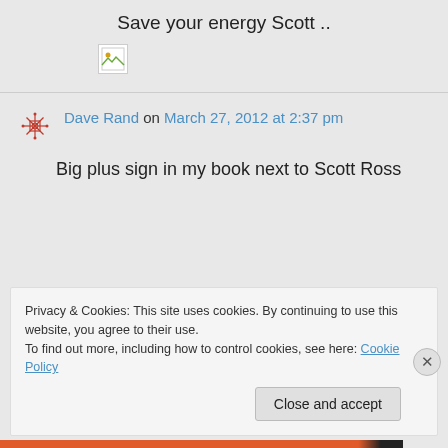Save your energy Scott ..
[Figure (other): Broken image placeholder icon]
Dave Rand on March 27, 2012 at 2:37 pm
Big plus sign in my book next to Scott Ross
Privacy & Cookies: This site uses cookies. By continuing to use this website, you agree to their use.
To find out more, including how to control cookies, see here: Cookie Policy
Close and accept